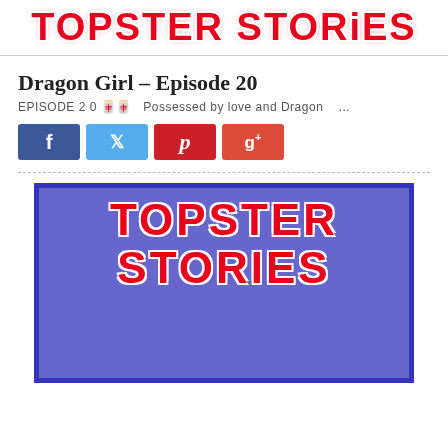TOPSTER STORIES
Dragon Girl – Episode 20
EPISODE 2 0 🀄🀄   Possessed by love and Dragon    ...
[Figure (screenshot): Social media share buttons: Facebook (blue), Twitter (light blue), Pinterest (red), Google+ (red-orange)]
[Figure (logo): Topster Stories logo — large red bold text on blue/purple background with white border: TOPSTER STORIES]